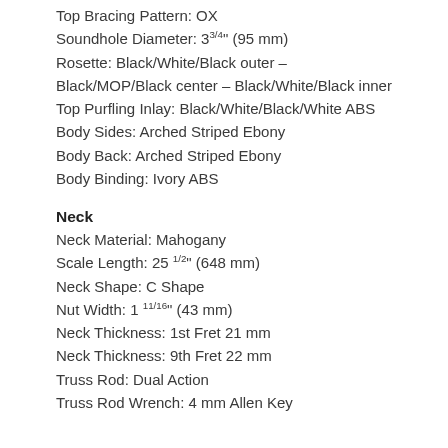Top Bracing Pattern: OX
Soundhole Diameter: 3 3/4" (95 mm)
Rosette: Black/White/Black outer – Black/MOP/Black center – Black/White/Black inner
Top Purfling Inlay: Black/White/Black/White ABS
Body Sides: Arched Striped Ebony
Body Back: Arched Striped Ebony
Body Binding: Ivory ABS
Neck
Neck Material: Mahogany
Scale Length: 25 1/2" (648 mm)
Neck Shape: C Shape
Nut Width: 1 11/16" (43 mm)
Neck Thickness: 1st Fret 21 mm
Neck Thickness: 9th Fret 22 mm
Truss Rod: Dual Action
Truss Rod Wrench: 4 mm Allen Key